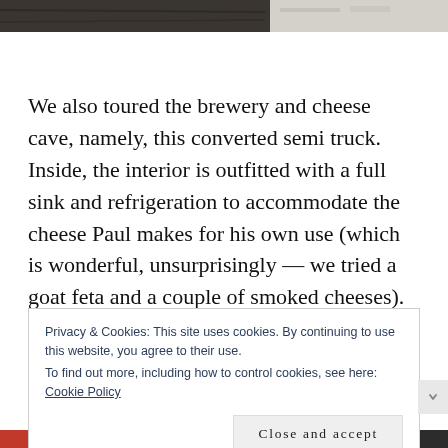[Figure (photo): Top strip showing a dark photo (brewery/semi truck exterior) on the left and a light-colored surface on the right]
We also toured the brewery and cheese cave, namely, this converted semi truck.  Inside, the interior is outfitted with a full sink and refrigeration to accommodate the cheese Paul makes for his own use (which is wonderful, unsurprisingly — we tried a goat feta and a couple of smoked cheeses).  Del, who is an award-winning beer
Privacy & Cookies: This site uses cookies. By continuing to use this website, you agree to their use.
To find out more, including how to control cookies, see here: Cookie Policy
Close and accept